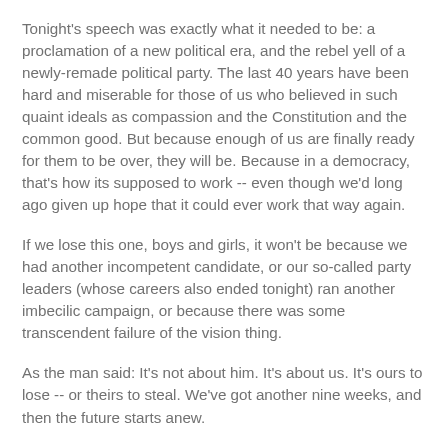Tonight's speech was exactly what it needed to be: a proclamation of a new political era, and the rebel yell of a newly-remade political party. The last 40 years have been hard and miserable for those of us who believed in such quaint ideals as compassion and the Constitution and the common good. But because enough of us are finally ready for them to be over, they will be. Because in a democracy, that's how its supposed to work -- even though we'd long ago given up hope that it could ever work that way again.
If we lose this one, boys and girls, it won't be because we had another incompetent candidate, or our so-called party leaders (whose careers also ended tonight) ran another imbecilic campaign, or because there was some transcendent failure of the vision thing.
As the man said: It's not about him. It's about us. It's ours to lose -- or theirs to steal. We've got another nine weeks, and then the future starts anew.
At last.